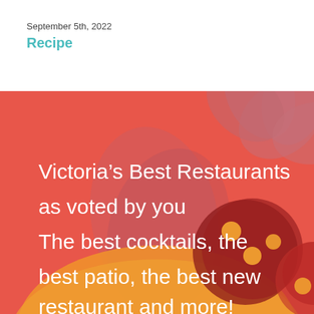September 5th, 2022
Recipe
[Figure (illustration): Red-orange background illustration with decorative flower/leaf shapes in muted rose and dark red tones, and a ladybug-like circular motif with orange dots. White large text reads: Victoria’s Best Restaurants as voted by you The best cocktails, the best patio, the best new restaurant and more!]